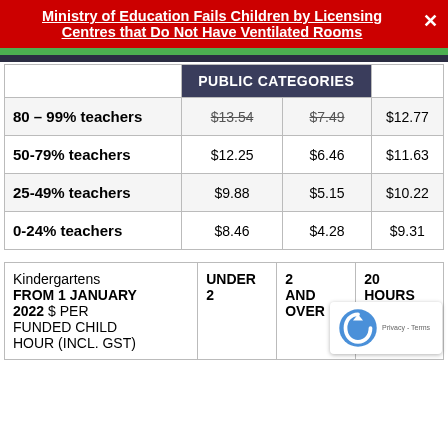Ministry of Education Fails Children by Licensing Centres that Do Not Have Ventilated Rooms
|  | PUBLIC CATEGORIES col1 | PUBLIC CATEGORIES col2 | col3 |
| --- | --- | --- | --- |
| 80 – 99% teachers | $13.54 | $7.49 | $12.77 |
| 50-79% teachers | $12.25 | $6.46 | $11.63 |
| 25-49% teachers | $9.88 | $5.15 | $10.22 |
| 0-24% teachers | $8.46 | $4.28 | $9.31 |
| Kindergartens FROM 1 JANUARY 2022 $ PER FUNDED CHILD HOUR (INCL. GST) | UNDER 2 | 2 AND OVER | 20 HOURS ECE |
| --- | --- | --- | --- |